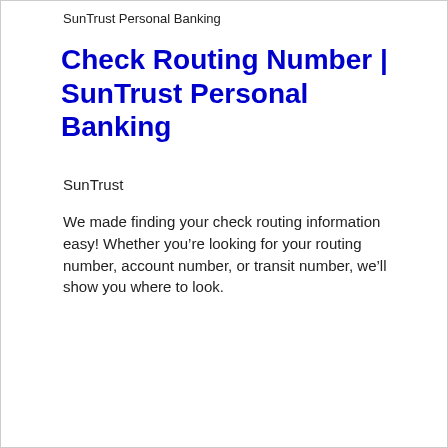SunTrust Personal Banking
Check Routing Number | SunTrust Personal Banking
SunTrust
We made finding your check routing information easy! Whether you’re looking for your routing number, account number, or transit number, we’ll show you where to look.